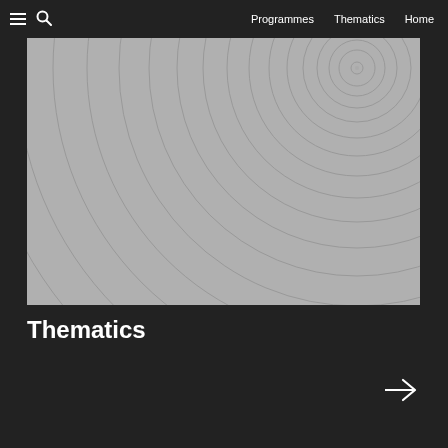Programmes  Thematics  Home
[Figure (illustration): Concentric circular rings radiating from upper-right area on a grey background, creating a spiral/target pattern effect]
Thematics
→